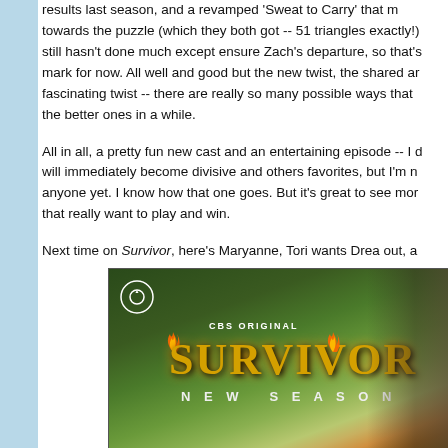results last season, and a revamped 'Sweat to Carry' that moves towards the puzzle (which they both got -- 51 triangles exactly!), still hasn't done much except ensure Zach's departure, so that's mark for now. All well and good but the new twist, the shared an fascinating twist -- there are really so many possible ways that the better ones in a while.
All in all, a pretty fun new cast and an entertaining episode -- I will immediately become divisive and others favorites, but I'm n anyone yet. I know how that one goes. But it's great to see mor that really want to play and win.
Next time on Survivor, here's Maryanne, Tori wants Drea out, a
[Figure (photo): CBS Original Survivor New Season advertisement image showing the Survivor logo with flames, jungle background, and host Jeff Probst on the right side.]